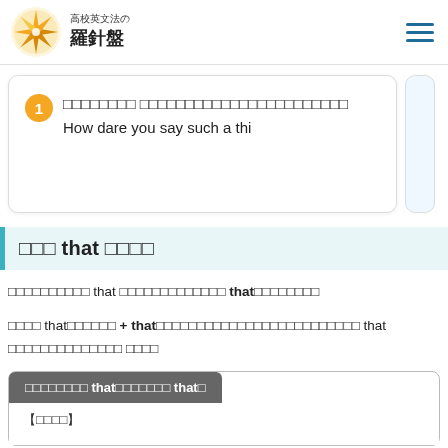高校英文法の 羅針盤
① □□□□□□□□ □□□□□□□□□□□□□□□□□□□□□□□ How dare you say such a thi
□□□ that □□□□
□□□□□□□□□□ that □□□□□□□□□□□□□ that□□□□□□□□
□□□□ that□□□□□□ + that□□□□□□□□□□□□□□□□□□□□□□□□□ that □□□□□□□□□□□□□□ □□□□
□□□□□□□□ that□□□□□□□ that□